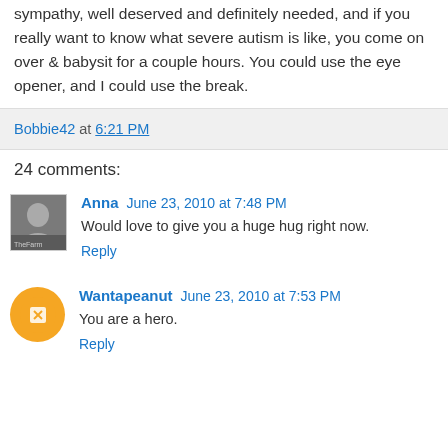sympathy, well deserved and definitely needed, and if you really want to know what severe autism is like, you come on over & babysit for a couple hours. You could use the eye opener, and I could use the break.
Bobbie42 at 6:21 PM
24 comments:
Anna  June 23, 2010 at 7:48 PM
Would love to give you a huge hug right now.
Reply
Wantapeanut  June 23, 2010 at 7:53 PM
You are a hero.
Reply